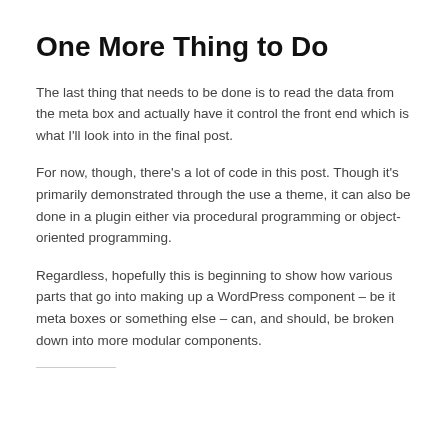One More Thing to Do
The last thing that needs to be done is to read the data from the meta box and actually have it control the front end which is what I'll look into in the final post.
For now, though, there's a lot of code in this post. Though it's primarily demonstrated through the use a theme, it can also be done in a plugin either via procedural programming or object-oriented programming.
Regardless, hopefully this is beginning to show how various parts that go into making up a WordPress component – be it meta boxes or something else – can, and should, be broken down into more modular components.